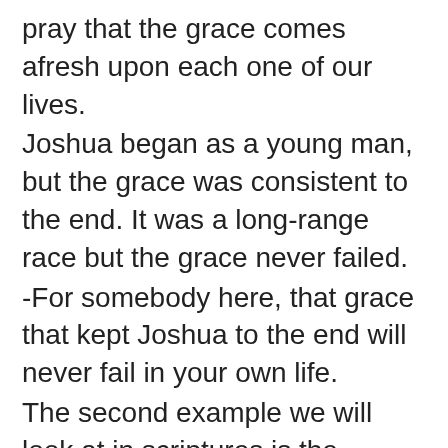pray that the grace comes afresh upon each one of our lives.
Joshua began as a young man, but the grace was consistent to the end. It was a long-range race but the grace never failed.
-For somebody here, that grace that kept Joshua to the end will never fail in your own life.
The second example we will look at in scriptures is the example of Anna. Anna was a widow of 84 years old, at the point when her story was recorded in scriptures and she made it to the end, serving God, day and night, with prayers and fasting in the temple.
Luke 2:37
She was a widow. She was in a situation, where perhaps she might had been written off, but